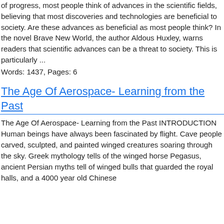of progress, most people think of advances in the scientific fields, believing that most discoveries and technologies are beneficial to society. Are these advances as beneficial as most people think? In the novel Brave New World, the author Aldous Huxley, warns readers that scientific advances can be a threat to society. This is particularly ...
Words: 1437, Pages: 6
The Age Of Aerospace- Learning from the Past
The Age Of Aerospace- Learning from the Past INTRODUCTION Human beings have always been fascinated by flight. Cave people carved, sculpted, and painted winged creatures soaring through the sky. Greek mythology tells of the winged horse Pegasus, ancient Persian myths tell of winged bulls that guarded the royal halls, and a 4000 year old Chinese